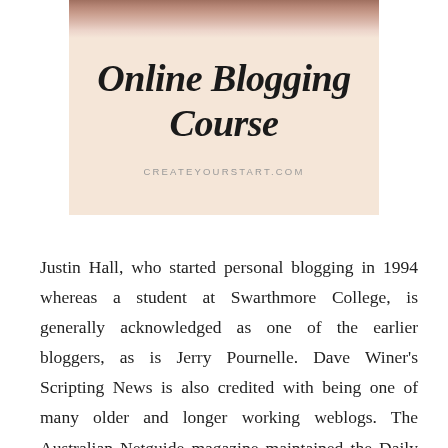[Figure (illustration): Pink/peach banner image for an Online Blogging Course with a photo of a person at the top, italic bold serif title text 'Online Blogging Course', and the URL CREATEYOURSTART.COM below.]
Justin Hall, who started personal blogging in 1994 whereas a student at Swarthmore College, is generally acknowledged as one of the earlier bloggers, as is Jerry Pournelle. Dave Winer's Scripting News is also credited with being one of many older and longer working weblogs. The Australian Netguide magazine maintained the Daily Net News on their web site from 1996. Daily Net News ran hyperlinks and day by day evaluations of new websites, mostly in Australia. A blog (a truncation of